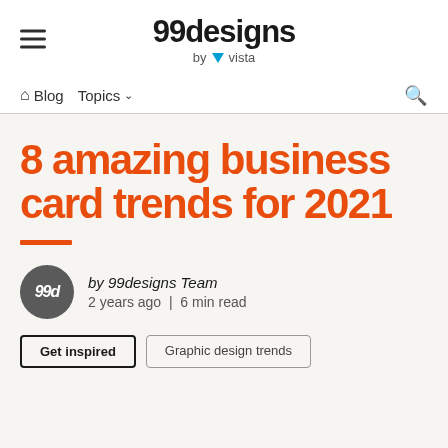99designs by vista
Blog  Topics  Search
8 amazing business card trends for 2021
by 99designs Team
2 years ago  |  6 min read
Get inspired
Graphic design trends